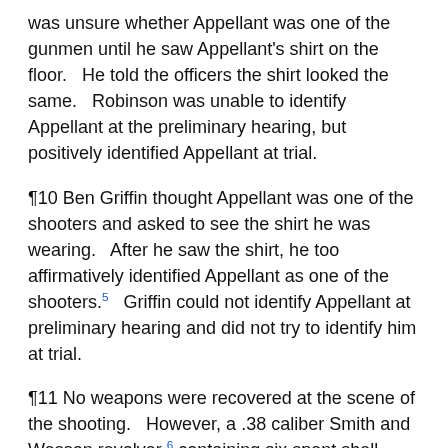was unsure whether Appellant was one of the gunmen until he saw Appellant's shirt on the floor.   He told the officers the shirt looked the same.   Robinson was unable to identify Appellant at the preliminary hearing, but positively identified Appellant at trial.
¶10 Ben Griffin thought Appellant was one of the shooters and asked to see the shirt he was wearing.   After he saw the shirt, he too affirmatively identified Appellant as one of the shooters.[5]   Griffin could not identify Appellant at preliminary hearing and did not try to identify him at trial.
¶11 No weapons were recovered at the scene of the shooting.   However, a .38 caliber Smith and Wesson revolver[6] containing six spent shell casings was found in a trash can about two blocks from Presbyterian Hospital.   The woman who found the gun heard someone drop it in her curbside garbage can around 12:30 a.m. on May 14, 1996. The woman called 911...[7]